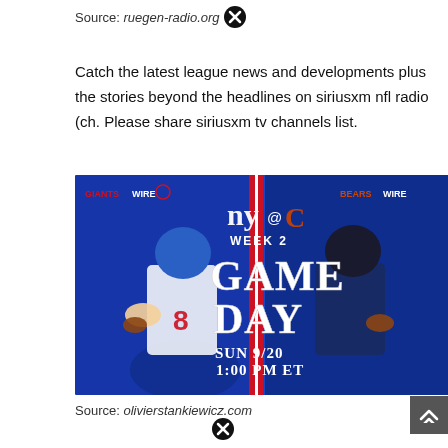Source: ruegen-radio.org
Catch the latest league news and developments plus the stories beyond the headlines on siriusxm nfl radio (ch. Please share siriusxm tv channels list.
[Figure (photo): NFL Game Day promotional image: NY Giants vs Chicago Bears, Week 2, SUN 9/20 1:00 PM ET. Shows two quarterbacks in action, with GiantsWire and BearsWire logos.]
Source: olivierstankiewicz.com